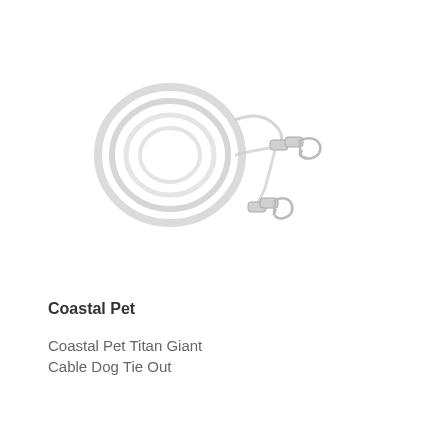[Figure (photo): A coiled cable dog tie out with two swivel snap hooks at the ends, shown against a white background. The cable is coiled in a loop with two metal snap hooks visible.]
Coastal Pet
Coastal Pet Titan Giant Cable Dog Tie Out